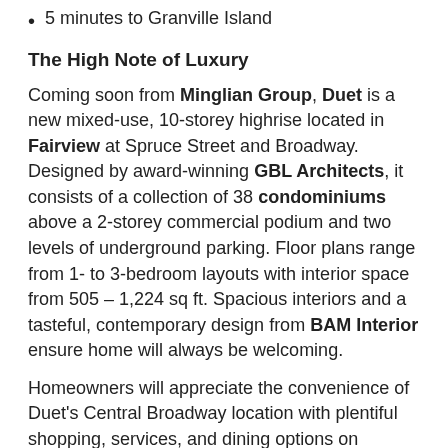5 minutes to Granville Island
The High Note of Luxury
Coming soon from Minglian Group, Duet is a new mixed-use, 10-storey highrise located in Fairview at Spruce Street and Broadway. Designed by award-winning GBL Architects, it consists of a collection of 38 condominiums above a 2-storey commercial podium and two levels of underground parking. Floor plans range from 1- to 3-bedroom layouts with interior space from 505 – 1,224 sq ft. Spacious interiors and a tasteful, contemporary design from BAM Interior ensure home will always be welcoming.
Homeowners will appreciate the convenience of Duet's Central Broadway location with plentiful shopping, services, and dining options on Broadway, Cambie, and Granville Street. Stroll or cycle to Charleson Park to walk your dog, jog the False Creek seawall, or pick up fresh fare at Granville Island Public Market. The busy 10th Avenue bikeway is a well-travelled east-west artery with good